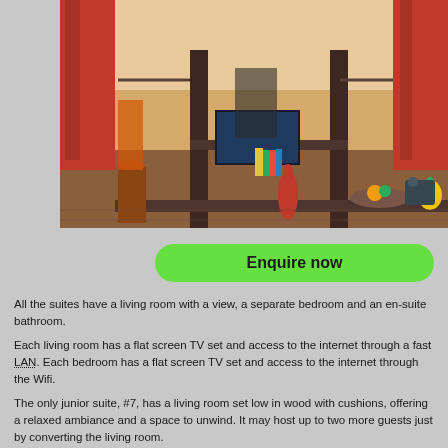[Figure (photo): Interior photo of a hotel suite living room with dark wood shelving unit, red curtains, flat screen TV, decorative vases, books, and a view to a balcony area.]
Enquire now
All the suites have a living room with a view, a separate bedroom and an en-suite bathroom.
Each living room has a flat screen TV set and access to the internet through a fast LAN. Each bedroom has a flat screen TV set and access to the internet through the Wifi.
The only junior suite, #7, has a living room set low in wood with cushions, offering a relaxed ambiance and a space to unwind. It may host up to two more guests just by converting the living room.
Four larger main suites are available: #3, #5, #6, #9. Each has a living room and a bar area suitable for in-room dining upon advance notice, or even not